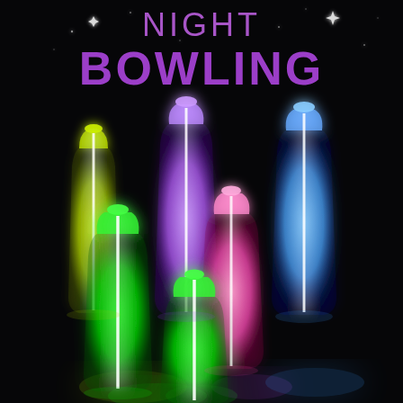[Figure (photo): Dark background photo of six glowing plastic bottles arranged like bowling pins. Bottles glow in different neon colors: yellow (left back), green (left front and center front), purple/violet (center back), pink (center middle), and blue (right back). Each bottle has a bright glowing stripe from a glow stick inside. The scene is set against a very dark/black background creating a dramatic night bowling effect.]
NIGHT BOWLING